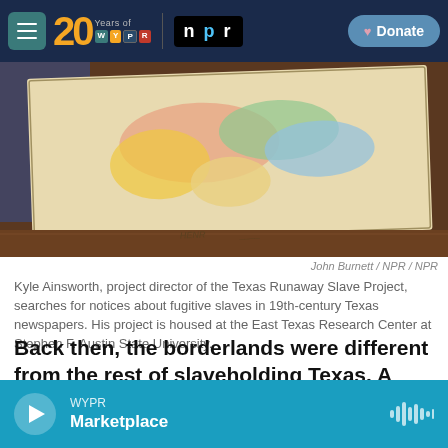WYPR 20 Years of WYPR | NPR | Donate
[Figure (photo): An old colorful map of Texas laid flat on a wooden table, photographed at an angle.]
John Burnett / NPR / NPR
Kyle Ainsworth, project director of the Texas Runaway Slave Project, searches for notices about fugitive slaves in 19th-century Texas newspapers. His project is housed at the East Texas Research Center at Stephen F. Austin State University.
Back then, the borderlands were different from the rest of slaveholding Texas. A white man, his Black wife and their children could live in peace.
WYPR Marketplace